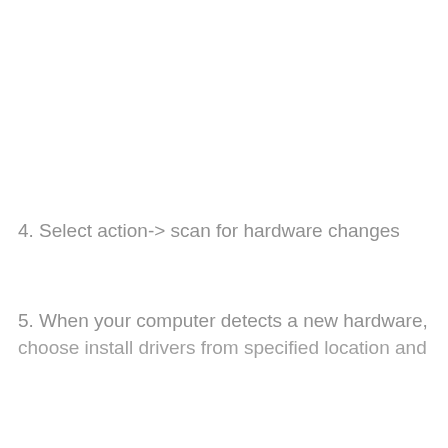4. Select action-> scan for hardware changes
5. When your computer detects a new hardware, choose install drivers from specified location and